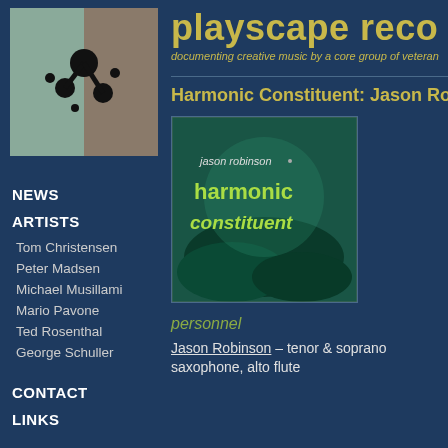[Figure (logo): Playscape Records logo - abstract figure with dots on textured background]
playscape reco
documenting creative music by a core group of veteran
NEWS
ARTISTS
Tom Christensen
Peter Madsen
Michael Musillami
Mario Pavone
Ted Rosenthal
George Schuller
CONTACT
LINKS
Harmonic Constituent: Jason Rob
[Figure (photo): Album cover for Jason Robinson - Harmonic Constituent, teal/green underwater scene with album title text]
personnel
Jason Robinson – tenor & soprano saxophone, alto flute